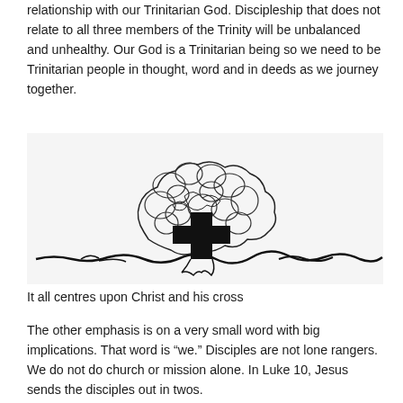relationship with our Trinitarian God. Discipleship that does not relate to all three members of the Trinity will be unbalanced and unhealthy. Our God is a Trinitarian being so we need to be Trinitarian people in thought, word and in deeds as we journey together.
[Figure (illustration): A hand-drawn illustration of a tree with a cross at its center, rendered in black ink. The tree has an organic, sketchy canopy made of looping and overlapping ovals. A bold black cross forms the trunk and horizontal bar at the center. The base shows rough ground strokes.]
It all centres upon Christ and his cross
The other emphasis is on a very small word with big implications. That word is “we.” Disciples are not lone rangers. We do not do church or mission alone. In Luke 10, Jesus sends the disciples out in twos.